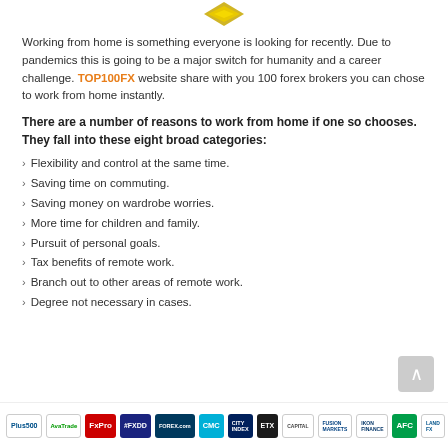[Figure (logo): Top100FX logo - gold/yellow diamond/shield shape at top center]
Working from home is something everyone is looking for recently. Due to pandemics this is going to be a major switch for humanity and a career challenge. TOP100FX website share with you 100 forex brokers you can chose to work from home instantly.
There are a number of reasons to work from home if one so chooses. They fall into these eight broad categories:
Flexibility and control at the same time.
Saving time on commuting.
Saving money on wardrobe worries.
More time for children and family.
Pursuit of personal goals.
Tax benefits of remote work.
Branch out to other areas of remote work.
Degree not necessary in cases.
[Figure (logo): Footer row of forex broker logos: Plus500, AvaTrade, FxPro, FXDD, Forex.com, CMC, City Index, ETX, Capital, Fusion Markets, IKON Finance, AFC, LandFX]